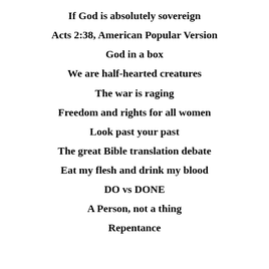If God is absolutely sovereign
Acts 2:38, American Popular Version
God in a box
We are half-hearted creatures
The war is raging
Freedom and rights for all women
Look past your past
The great Bible translation debate
Eat my flesh and drink my blood
DO vs DONE
A Person, not a thing
Repentance